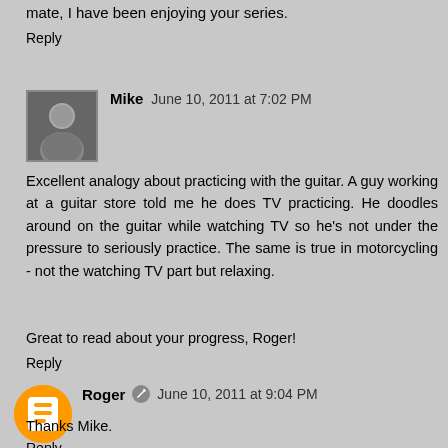mate, I have been enjoying your series.
Reply
Mike  June 10, 2011 at 7:02 PM
Excellent analogy about practicing with the guitar. A guy working at a guitar store told me he does TV practicing. He doodles around on the guitar while watching TV so he's not under the pressure to seriously practice. The same is true in motorcycling - not the watching TV part but relaxing.
Great to read about your progress, Roger!
Reply
Roger  June 10, 2011 at 9:04 PM
Thanks Mike.
Reply